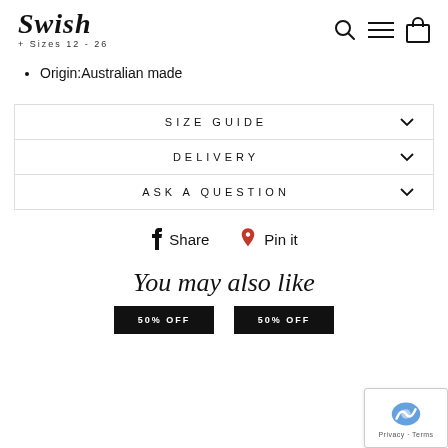Swish + Sizes 12 - 26
Origin:Australian made
SIZE GUIDE
DELIVERY
ASK A QUESTION
Share  Pin it
You may also like
[Figure (other): Two product thumbnails with '50% OFF' labels]
[Figure (other): reCAPTCHA privacy badge in bottom-right corner]